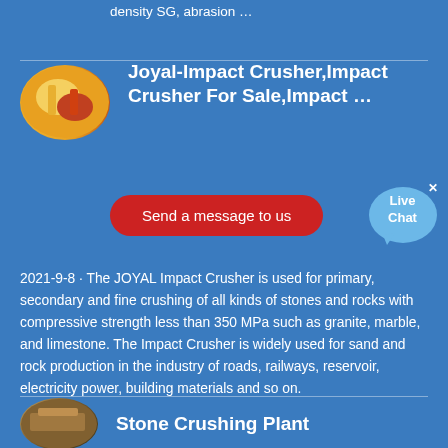density SG, abrasion …
[Figure (photo): Thumbnail image of Joyal Impact Crusher machine (yellow and red industrial crusher)]
Joyal-Impact Crusher,Impact Crusher For Sale,Impact …
Send a message to us
[Figure (other): Live Chat bubble icon with text 'Live Chat']
2021-9-8 · The JOYAL Impact Crusher is used for primary, secondary and fine crushing of all kinds of stones and rocks with compressive strength less than 350 MPa such as granite, marble, and limestone. The Impact Crusher is widely used for sand and rock production in the industry of roads, railways, reservoir, electricity power, building materials and so on.
[Figure (photo): Thumbnail image of Stone Crushing Plant equipment]
Stone Crushing Plant